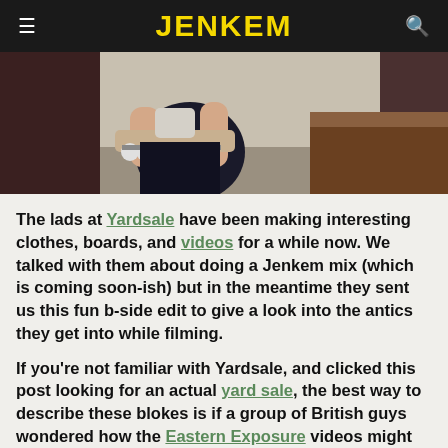JENKEM
[Figure (photo): Person holding a skateboard, partial body shot showing hands gripping the deck, indoor setting with walls visible]
The lads at Yardsale have been making interesting clothes, boards, and videos for a while now. We talked with them about doing a Jenkem mix (which is coming soon-ish) but in the meantime they sent us this fun b-side edit to give a look into the antics they get into while filming.
If you're not familiar with Yardsale, and clicked this post looking for an actual yard sale, the best way to describe these blokes is if a group of British guys wondered how the Eastern Exposure videos might look 20 years later with some track suits added in.